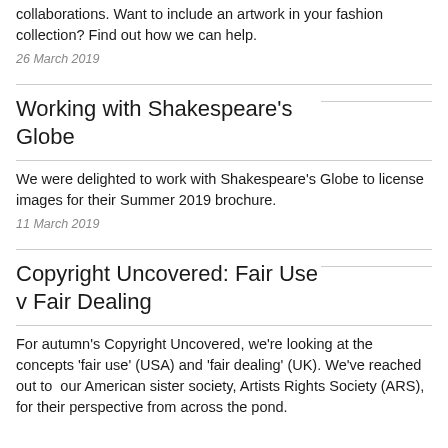collaborations. Want to include an artwork in your fashion collection? Find out how we can help.
26 March 2019
Working with Shakespeare's Globe
We were delighted to work with Shakespeare's Globe to license images for their Summer 2019 brochure.
11 March 2019
Copyright Uncovered: Fair Use v Fair Dealing
For autumn's Copyright Uncovered, we're looking at the concepts 'fair use' (USA) and 'fair dealing' (UK). We've reached out to our American sister society, Artists Rights Society (ARS), for their perspective from across the pond.